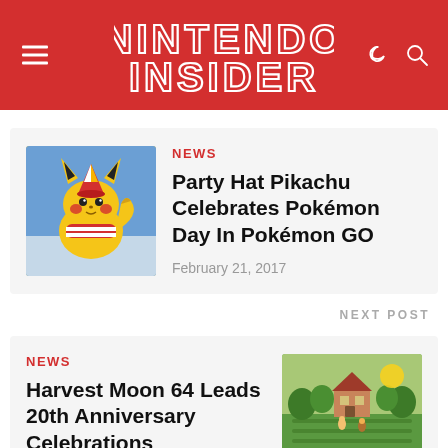NINTENDO INSIDER
NEWS
Party Hat Pikachu Celebrates Pokémon Day In Pokémon GO
February 21, 2017
NEXT POST
NEWS
Harvest Moon 64 Leads 20th Anniversary Celebrations
February 22, 2017